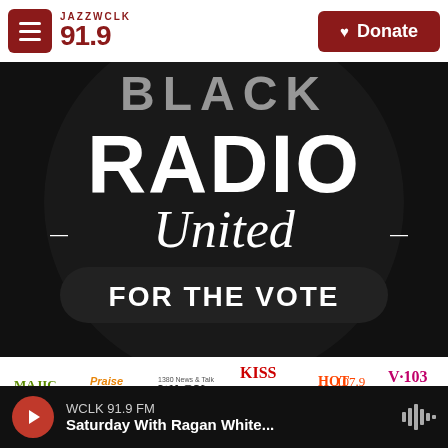JAZZ WCLK 91.9 | Donate
[Figure (illustration): Black Radio United For The Vote promotional graphic with radio station logos including MAJIC 107.5/97.5, Praise 102.5, 1380 WAOK, KISS 104.1, HOT 107.9, V-103, CLASSIX, 94.5, JAZZ WCLK 91.9, OG 97.9, JAZ]
Find Voting Information Here
WCLK 91.9 FM | Saturday With Ragan White...